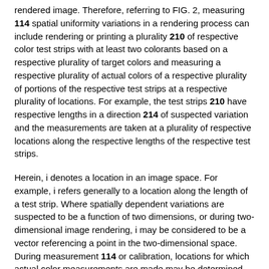rendered image. Therefore, referring to FIG. 2, measuring 114 spatial uniformity variations in a rendering process can include rendering or printing a plurality 210 of respective color test strips with at least two colorants based on a respective plurality of target colors and measuring a respective plurality of actual colors of a respective plurality of portions of the respective test strips at a respective plurality of locations. For example, the test strips 210 have respective lengths in a direction 214 of suspected variation and the measurements are taken at a plurality of respective locations along the respective lengths of the respective test strips.
Herein, i denotes a location in an image space. For example, i refers generally to a location along the length of a test strip. Where spatially dependent variations are suspected to be a function of two dimensions, or during two-dimensional image rendering, i may be considered to be a vector referencing a point in the two-dimensional space. During measurement 114 or calibration, locations for which actual color measurements are made may be determined by the locations of sensing elements in a color sensor. For instance, the measurements 114 may be taken